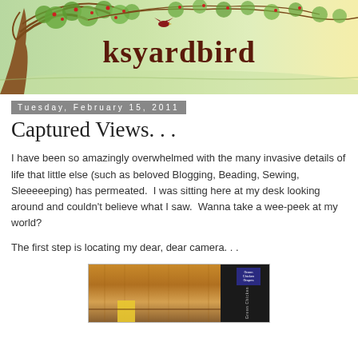[Figure (illustration): Blog header banner with watercolor-style illustration of a tree on the left, branches with red and green leaves across the top, a bird in the center, and 'ksyardbird' in dark brown serif text as the blog title. Sky background with yellow-green gradient.]
Tuesday, February 15, 2011
Captured Views. . .
I have been so amazingly overwhelmed with the many invasive details of life that little else (such as beloved Blogging, Beading, Sewing, Sleeeeeping) has permeated.  I was sitting here at my desk looking around and couldn't believe what I saw.  Wanna take a wee-peek at my world?
The first step is locating my dear, dear camera. . .
[Figure (photo): Photo of a wooden shelf or desk area with various items including what appears to be a dark spray can and other objects. Wood grain visible in brown tones.]